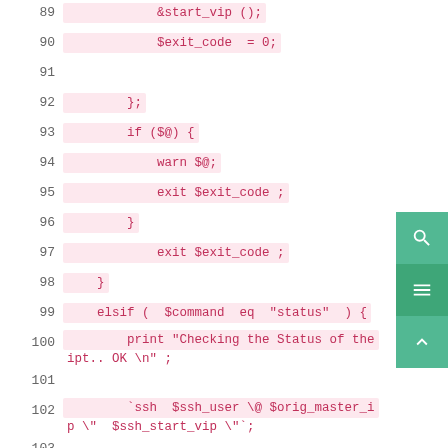89    &start_vip ();
90    $exit_code = 0;
91
92    };
93    if ($@) {
94        warn $@;
95        exit $exit_code ;
96    }
97        exit $exit_code ;
98    }
99    elsif ( $command eq "status" ) {
100        print "Checking the Status of the
101 ipt.. OK \n" ;
102        `ssh $ssh_user \@ $orig_master_i
103 p \"  $ssh_start_vip \"`;
104        exit 0;
105